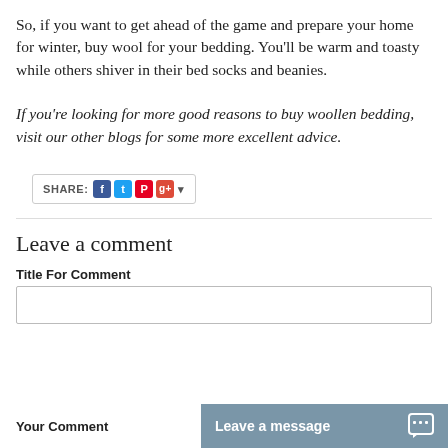So, if you want to get ahead of the game and prepare your home for winter, buy wool for your bedding. You’ll be warm and toasty while others shiver in their bed socks and beanies.
If you’re looking for more good reasons to buy woollen bedding, visit our other blogs for some more excellent advice.
[Figure (other): Social share bar with SHARE: label and icons for Facebook, Twitter, Pinterest, Google+, and a dropdown arrow]
Leave a comment
Title For Comment
Your Comment
[Figure (other): Leave a message chat widget button with speech bubble icon]